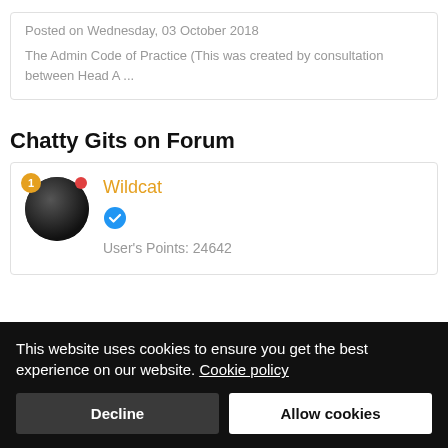Posted on Wednesday, 03 October 2018
The Admin Code of Practice (This was created by consultation between Head A ...
Chatty Gits on Forum
Wildcat
User's Points: 24642
This website uses cookies to ensure you get the best experience on our website. Cookie policy
Decline
Allow cookies